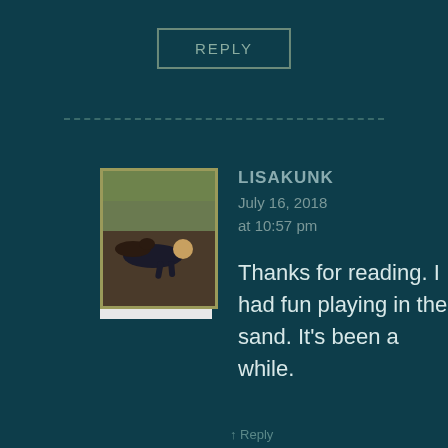REPLY
[Figure (photo): Avatar photo of a person playing in sand with a dog]
LISAKUNK
July 16, 2018 at 10:57 pm
Thanks for reading. I had fun playing in the sand. It's been a while.